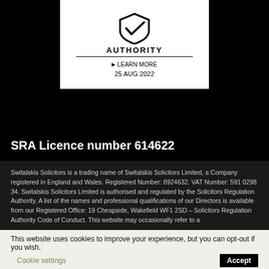[Figure (logo): SRA (Solicitors Regulation Authority) badge/logo with checkmark/shield icon, 'AUTHORITY' text, 'LEARN MORE' link, and date 25 AUG 2022]
SRA Licence number 614622
Switalskis Solicitors is a trading name of Switalskis Solicitors Limited, a Company registered in England and Wales. Registered Number: 8924632. VAT Number: 591 0298 34. Switalskis Solicitors Limited is authorised and regulated by the Solicitors Regulation Authority. A list of the names and professional qualifications of our Directors is available from our Registered Office: 19 Cheapside, Wakefield WF1 2SD – Solicitors Regulation Authority Code of Conduct. This website may occasionally refer to a
This website uses cookies to improve your experience, but you can opt-out if you wish. Cookie settings Accept
Privacy Policy